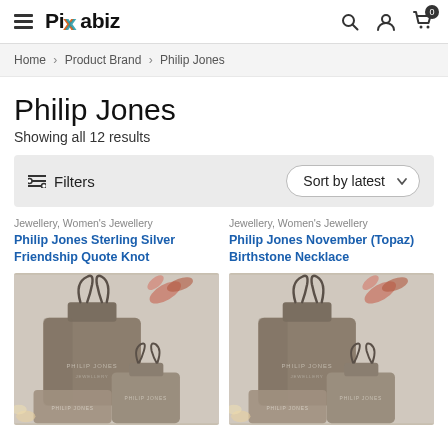Pixabiz — Home > Product Brand > Philip Jones
Home > Product Brand > Philip Jones
Philip Jones
Showing all 12 results
Filters   Sort by latest
Jewellery, Women's Jewellery
Philip Jones Sterling Silver Friendship Quote Knot
[Figure (photo): Philip Jones branded velvet drawstring jewellery pouches in grey/taupe color, displayed with flowers in background]
Jewellery, Women's Jewellery
Philip Jones November (Topaz) Birthstone Necklace
[Figure (photo): Philip Jones branded velvet drawstring jewellery pouches in grey/taupe color, displayed with flowers in background]